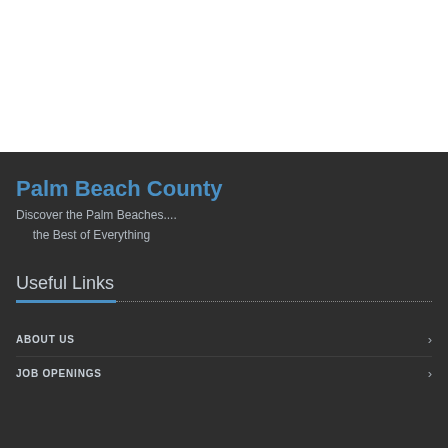Palm Beach County
Discover the Palm Beaches....
      the Best of Everything
Useful Links
ABOUT US
JOB OPENINGS